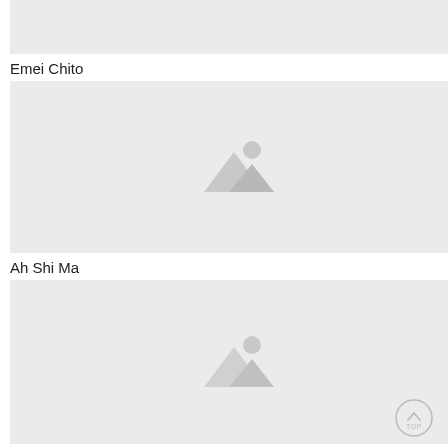[Figure (photo): Placeholder image (top, partially visible)]
Emei Chito
[Figure (photo): Placeholder image with mountain and sun icon for Emei Chito]
Ah Shi Ma
[Figure (photo): Placeholder image with mountain and sun icon for Ah Shi Ma]